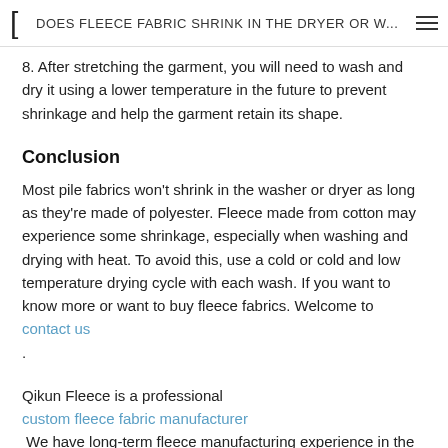DOES FLEECE FABRIC SHRINK IN THE DRYER OR W...
8. After stretching the garment, you will need to wash and dry it using a lower temperature in the future to prevent shrinkage and help the garment retain its shape.
Conclusion
Most pile fabrics won't shrink in the washer or dryer as long as they're made of polyester. Fleece made from cotton may experience some shrinkage, especially when washing and drying with heat. To avoid this, use a cold or cold and low temperature drying cycle with each wash. If you want to know more or want to buy fleece fabrics. Welcome to contact us .
Qikun Fleece is a professional custom fleece fabric manufacturer We have long-term fleece manufacturing experience in the